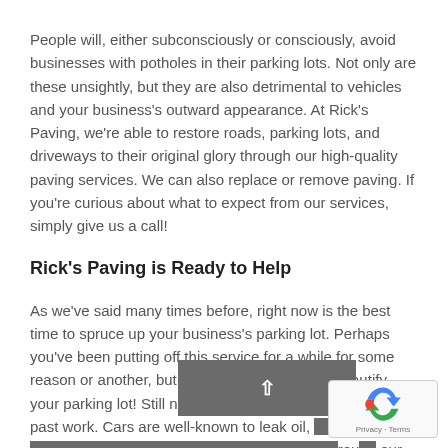People will, either subconsciously or consciously, avoid businesses with potholes in their parking lots. Not only are these unsightly, but they are also detrimental to vehicles and your business's outward appearance. At Rick's Paving, we're able to restore roads, parking lots, and driveways to their original glory through our high-quality paving services. We can also replace or remove paving. If you're curious about what to expect from our services, simply give us a call!
Rick's Paving is Ready to Help
As we've said many times before, right now is the best time to spruce up your business's parking lot. Perhaps you've been putting off this service for a while for some reason or another, but now is the best time to beautify your parking lot! Still not sure? Then take a look at our past work. Cars are well-known to leak oil, which can cause parking lots to stain in unsightly ways. Through our parking lot services, your business will be much more welcoming than ever before! Give us a call today